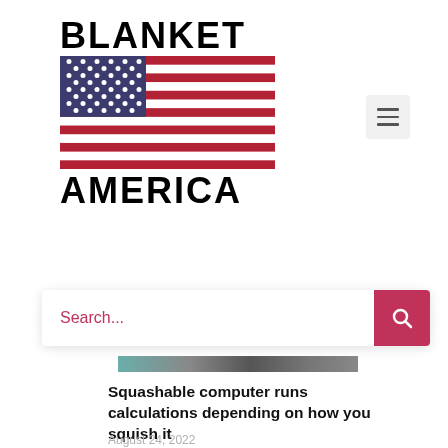BLANKET AMERICA
[Figure (illustration): Logo of Blanket America website: the text BLANKET above and AMERICA below a US flag image, with a hamburger menu button to the right]
[Figure (screenshot): Search bar with placeholder text 'Search...' in red/pink color and a red search button with magnifying glass icon on the right]
[Figure (photo): Partial image strip at top of article showing a dark pattern/texture]
Squashable computer runs calculations depending on how you squish it
August 24, 2022